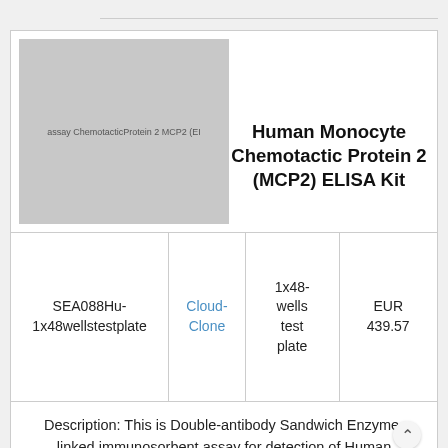[Figure (photo): Product image placeholder for Human Monocyte Chemotactic Protein 2 (MCP2) ELISA Kit showing grey rectangle with partial text label]
Human Monocyte Chemotactic Protein 2 (MCP2) ELISA Kit
| SEA088Hu-1x48wellstestplate | Cloud-Clone | 1x48-wells test plate | EUR 439.57 |
Description: This is Double-antibody Sandwich Enzyme-linked immunosorbent assay for detection of Human Monocyte Chemotacti Protein 2 (MCP2) in serum, plasma, tissue